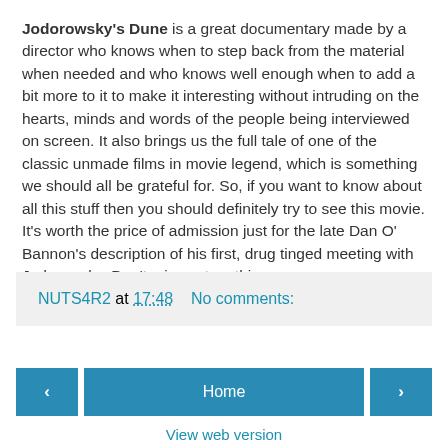Jodorowsky's Dune is a great documentary made by a director who knows when to step back from the material when needed and who knows well enough when to add a bit more to it to make it interesting without intruding on the hearts, minds and words of the people being interviewed on screen. It also brings us the full tale of one of the classic unmade films in movie legend, which is something we should all be grateful for. So, if you want to know about all this stuff then you should definitely try to see this movie. It's worth the price of admission just for the late Dan O' Bannon's description of his first, drug tinged meeting with Jodorowsky. Don't miss out on this one.
NUTS4R2 at 17:48   No comments:
Home
View web version